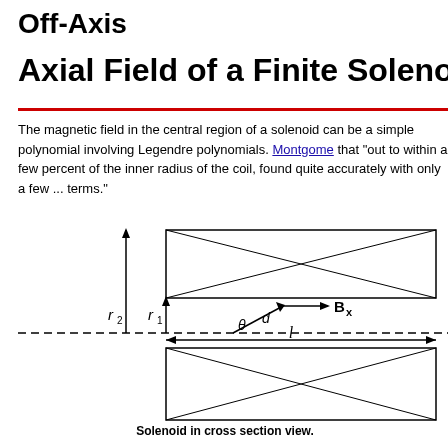Off-Axis
Axial Field of a Finite Soleno
The magnetic field in the central region of a solenoid can be a simple polynomial involving Legendre polynomials. Montgome that "out to within a few percent of the inner radius of the coil, found quite accurately with only a few ... terms."
[Figure (engineering-diagram): Cross-section diagram of a solenoid showing two rectangular cross-sections (top and bottom halves) with X-crossing lines inside. Labels show r2 (outer radius, tall arrow), r1 (inner radius, shorter arrow), angle theta, distance d, and field component Bx with an arrow. A dashed horizontal line represents the axis. Below, a double-headed arrow shows the length l. The bottom rectangle also has X-crossing lines.]
Solenoid in cross section view.